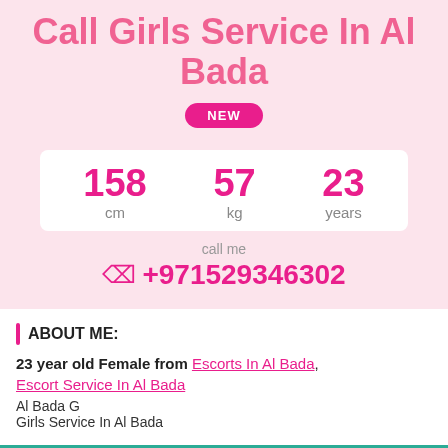Call Girls Service In Al Bada
NEW
158 cm | 57 kg | 23 years
call me
+971529346302
ABOUT ME:
23 year old Female from Escorts In Al Bada, Escort Service In Al Bada
Al Bada G...
Girls Service In Al Bada
Click to chat- +971529346302